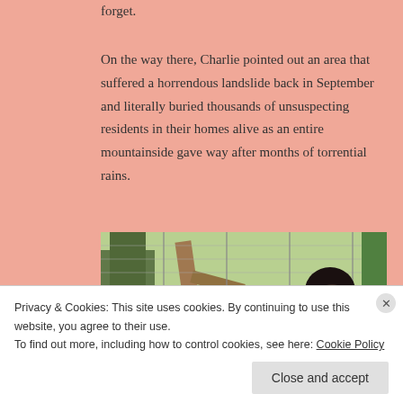forget.
On the way there, Charlie pointed out an area that suffered a horrendous landslide back in September and literally buried thousands of unsuspecting residents in their homes alive as an entire mountainside gave way after months of torrential rains.
[Figure (photo): A chimpanzee sitting near a log in an outdoor enclosure with green grass and fencing in the background.]
Privacy & Cookies: This site uses cookies. By continuing to use this website, you agree to their use. To find out more, including how to control cookies, see here: Cookie Policy